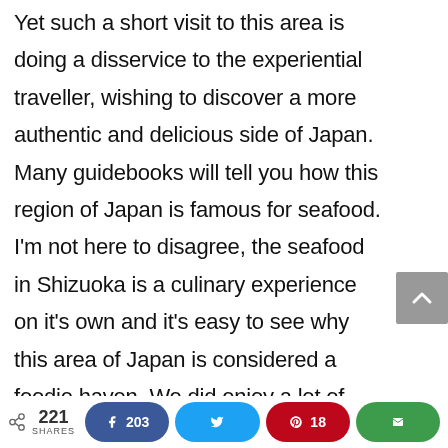Yet such a short visit to this area is doing a disservice to the experiential traveller, wishing to discover a more authentic and delicious side of Japan. Many guidebooks will tell you how this region of Japan is famous for seafood. I'm not here to disagree, the seafood in Shizuoka is a culinary experience on it's own and it's easy to see why this area of Japan is considered a foodie haven. We did enjoy a lot of ocean fresh, immaculately
221 SHARES | 203 Facebook | Twitter | 18 Pinterest | Email